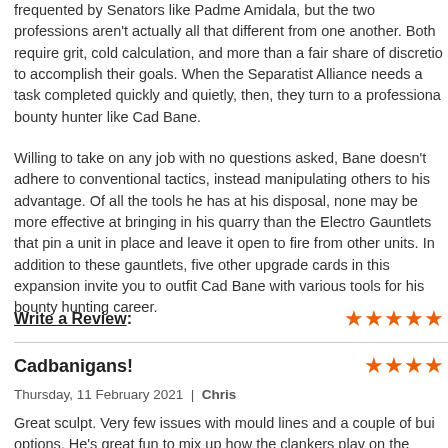frequented by Senators like Padme Amidala, but the two professions aren't actually all that different from one another. Both require grit, cold calculation, and more than a fair share of discretion to accomplish their goals. When the Separatist Alliance needs a task completed quickly and quietly, then, they turn to a professional bounty hunter like Cad Bane.
Willing to take on any job with no questions asked, Bane doesn't adhere to conventional tactics, instead manipulating others to his advantage. Of all the tools he has at his disposal, none may be more effective at bringing in his quarry than the Electro Gauntlets that pin a unit in place and leave it open to fire from other units. In addition to these gauntlets, five other upgrade cards in this expansion invite you to outfit Cad Bane with various tools for his bounty hunting career.
Write a Review:
Cadbanigans!
Thursday, 11 February 2021  |  Chris
Great sculpt. Very few issues with mould lines and a couple of build options. He's great fun to mix up how the clankers play on the Tabletop.